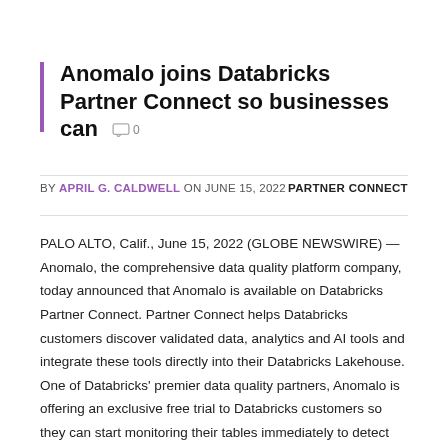Anomalo joins Databricks Partner Connect so businesses can
BY APRIL G. CALDWELL ON JUNE 15, 2022   PARTNER CONNECT
PALO ALTO, Calif., June 15, 2022 (GLOBE NEWSWIRE) — Anomalo, the comprehensive data quality platform company, today announced that Anomalo is available on Databricks Partner Connect. Partner Connect helps Databricks customers discover validated data, analytics and AI tools and integrate these tools directly into their Databricks Lakehouse. One of Databricks' premier data quality partners, Anomalo is offering an exclusive free trial to Databricks customers so they can start monitoring their tables immediately to detect and cause data quality issues if they don't. are not already Anomalo customers.